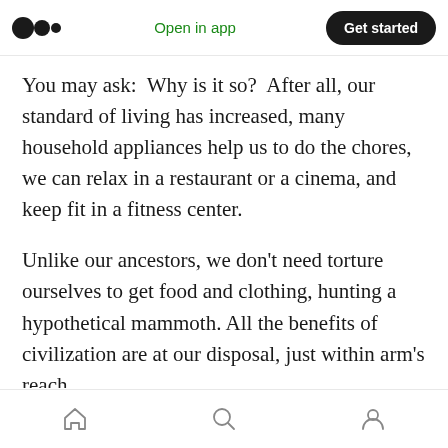Medium logo | Open in app | Get started
You may ask: Why is it so? After all, our standard of living has increased, many household appliances help us to do the chores, we can relax in a restaurant or a cinema, and keep fit in a fitness center.
Unlike our ancestors, we don’t need torture ourselves to get food and clothing, hunting a hypothetical mammoth. All the benefits of civilization are at our disposal, just within arm’s reach.
Nonetheless, we are constantly experiencing
Home | Search | Profile